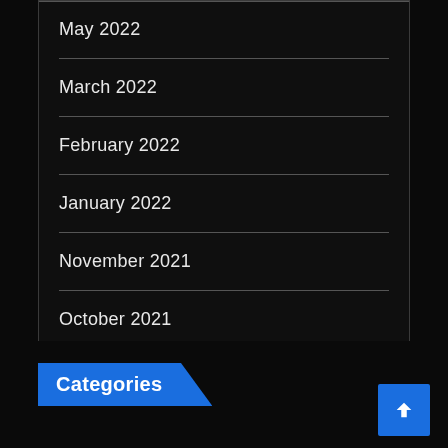May 2022
March 2022
February 2022
January 2022
November 2021
October 2021
Categories